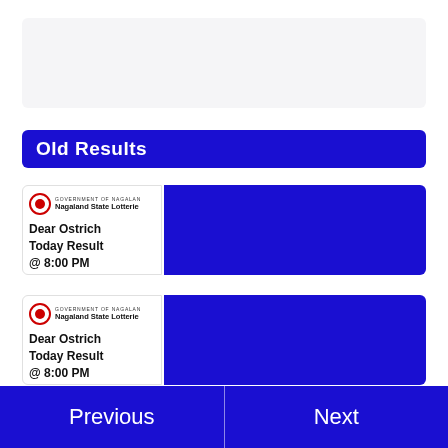[Figure (other): Gray placeholder box at top of page]
Old Results
[Figure (other): Nagaland State Lotteries card - Dear Ostrich Today Result @ 8:00 PM - first entry]
[Figure (other): Nagaland State Lotteries card - Dear Ostrich Today Result @ 8:00 PM - second entry]
[Figure (other): Nagaland State Lotteries card - partial third entry]
Previous   Next